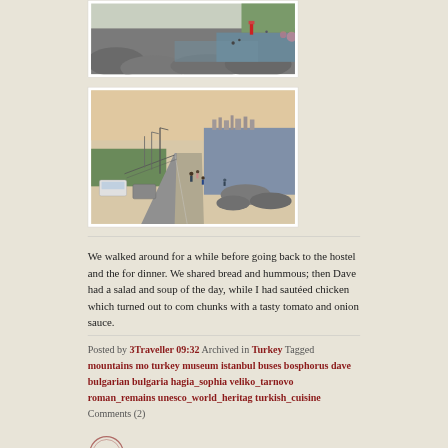[Figure (photo): Coastal rocky waterfront with people and a red lighthouse in the distance, Istanbul Turkey]
[Figure (photo): Seaside promenade road with parked cars on the left, pedestrians, and city skyline across the water at dusk]
We walked around for a while before going back to the hostel and the for dinner. We shared bread and hummous; then Dave had a salad and soup of the day, while I had sautéed chicken which turned out to com chunks with a tasty tomato and onion sauce.
Posted by 3Traveller 09:32 Archived in Turkey Tagged mountains mo turkey museum istanbul buses bosphorus dave bulgarian bulgaria hagia_sophia veliko_tarnovo roman_remains unesco_world_heritag turkish_cuisine Comments (2)
[Figure (illustration): Circular stamp/seal at the bottom of the blog post]